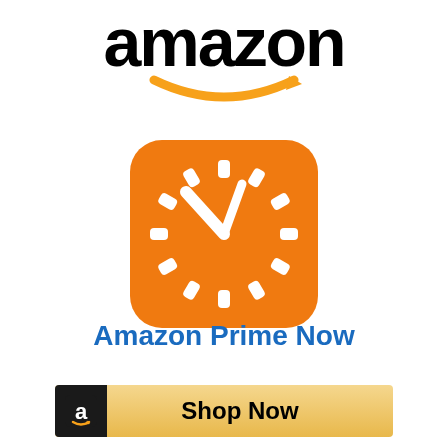[Figure (logo): Amazon logo with black text 'amazon' and orange smile/arrow underneath]
[Figure (logo): Amazon Prime Now app icon: orange rounded square with white clock face showing hour markers as small rounded rectangles and two white clock hands]
Amazon Prime Now
[Figure (other): Shop Now button with gold/tan gradient background, black Amazon 'a' icon on left, and 'Shop Now' text in bold]